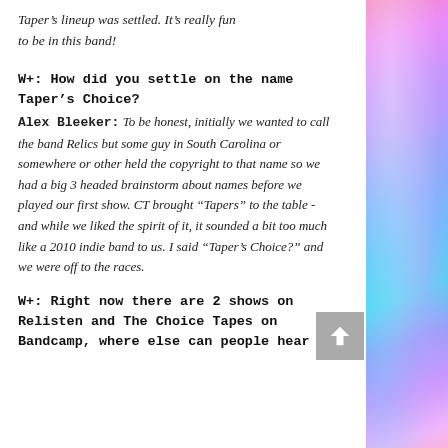Taper’s lineup was settled. It’s really fun to be in this band!
W+: How did you settle on the name Taper’s Choice?
Alex Bleeker: To be honest, initially we wanted to call the band Relics but some guy in South Carolina or somewhere or other held the copyright to that name so we had a big 3 headed brainstorm about names before we played our first show. CT brought “Tapers” to the table - and while we liked the spirit of it, it sounded a bit too much like a 2010 indie band to us. I said “Taper’s Choice?” and we were off to the races.
W+: Right now there are 2 shows on Relisten and The Choice Tapes on Bandcamp, where else can people hear